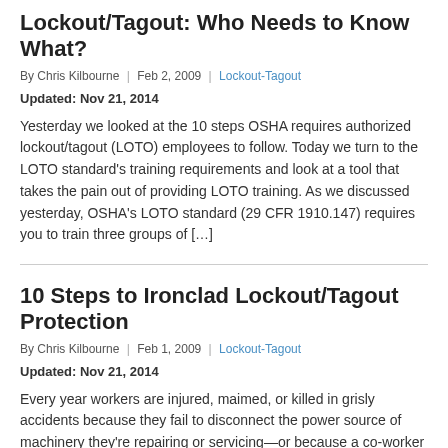Lockout/Tagout: Who Needs to Know What?
By Chris Kilbourne | Feb 2, 2009 | Lockout-Tagout
Updated: Nov 21, 2014
Yesterday we looked at the 10 steps OSHA requires authorized lockout/tagout (LOTO) employees to follow. Today we turn to the LOTO standard’s training requirements and look at a tool that takes the pain out of providing LOTO training. As we discussed yesterday, OSHA’s LOTO standard (29 CFR 1910.147) requires you to train three groups of […]
10 Steps to Ironclad Lockout/Tagout Protection
By Chris Kilbourne | Feb 1, 2009 | Lockout-Tagout
Updated: Nov 21, 2014
Every year workers are injured, maimed, or killed in grisly accidents because they fail to disconnect the power source of machinery they’re repairing or servicing—or because a co-worker